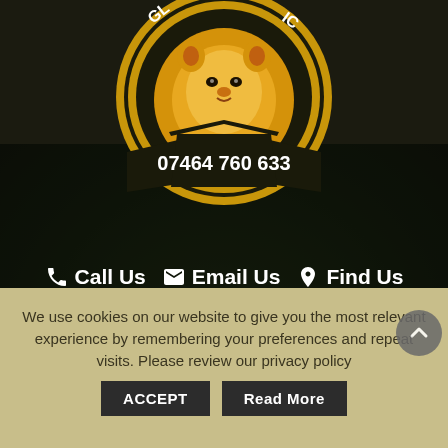[Figure (logo): Circular lion head logo with gold and black design, showing a lion face with mane on gold background. Black banner ribbons with phone number '07464 760 633' in white text. Text 'GL' and 'IC' visible at top edges of circle.]
Call Us  Email Us  Find Us  Facebook  Instagram
We use cookies on our website to give you the most relevant experience by remembering your preferences and repeat visits. Please review our privacy policy
ACCEPT
Read More